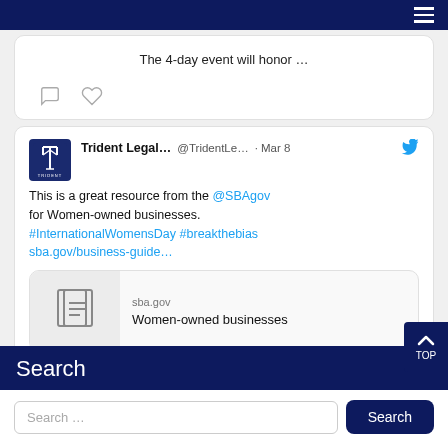Navigation menu
The 4-day event will honor …
[Figure (screenshot): Tweet from Trident Legal (@TridentLe…) on Mar 8: This is a great resource from the @SBAgov for Women-owned businesses. #InternationalWomensDay #breakthebias sba.gov/business-guide… with a link preview card showing sba.gov / Women-owned businesses]
Search
Search …